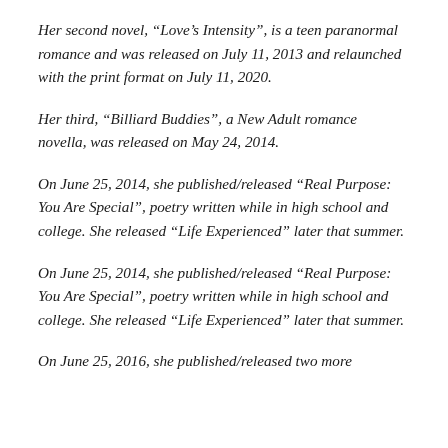Her second novel, “Love’s Intensity”, is a teen paranormal romance and was released on July 11, 2013 and relaunched with the print format on July 11, 2020.
Her third, “Billiard Buddies”, a New Adult romance novella, was released on May 24, 2014.
On June 25, 2014, she published/released “Real Purpose: You Are Special”, poetry written while in high school and college. She released “Life Experienced” later that summer.
On June 25, 2014, she published/released “Real Purpose: You Are Special”, poetry written while in high school and college. She released “Life Experienced” later that summer.
On June 25, 2016, she published/released two more